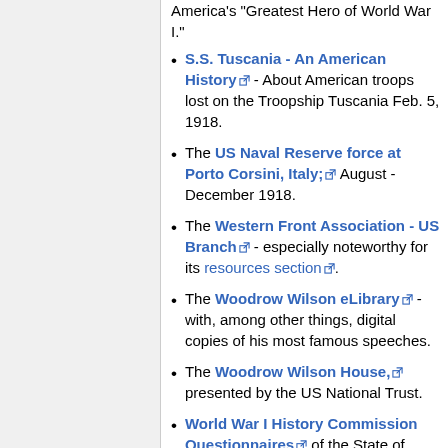S.S. Tuscania - An American History - About American troops lost on the Troopship Tuscania Feb. 5, 1918.
The US Naval Reserve force at Porto Corsini, Italy; August - December 1918.
The Western Front Association - US Branch - especially noteworthy for its resources section.
The Woodrow Wilson eLibrary - with, among other things, digital copies of his most famous speeches.
The Woodrow Wilson House, presented by the US National Trust.
World War I History Commission Questionnaires of the State of